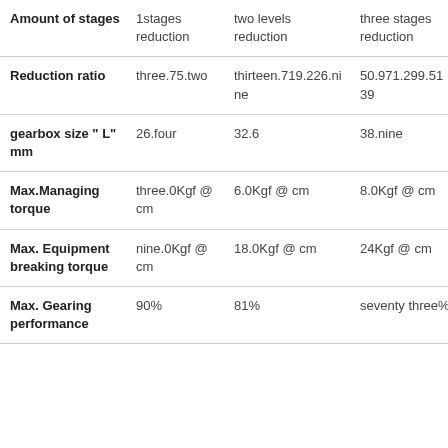| Amount of stages | 1stages reduction | two levels reduction | three stages reduction | fo... |
| --- | --- | --- | --- | --- |
| Amount of stages | 1stages reduction | two levels reduction | three stages reduction | fo... re... |
| Reduction ratio | three.75.two | thirteen.719.226.nine | 50.971.299.5139 | 1... |
| gearbox size " L" mm | 26.four | 32.6 | 38.nine | fo... |
| Max.Managing torque | three.0Kgf @ cm | 6.0Kgf @ cm | 8.0Kgf @ cm | tw... |
| Max. Equipment breaking torque | nine.0Kgf @ cm | 18.0Kgf @ cm | 24Kgf @ cm | 3... |
| Max. Gearing performance | 90% | 81% | seventy three% | 6... |